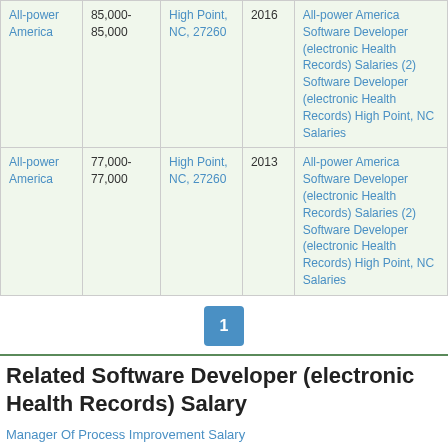| Company | Salary Range | Location | Year | Links |
| --- | --- | --- | --- | --- |
| All-power America | 85,000-85,000 | High Point, NC, 27260 | 2016 | All-power America Software Developer (electronic Health Records) Salaries (2)
Software Developer (electronic Health Records) High Point, NC Salaries |
| All-power America | 77,000-77,000 | High Point, NC, 27260 | 2013 | All-power America Software Developer (electronic Health Records) Salaries (2)
Software Developer (electronic Health Records) High Point, NC Salaries |
1
Related Software Developer (electronic Health Records) Salary
Manager Of Process Improvement Salary
Developer Ii Salary
Information Technology Specialist Salary
Sr. Quality Assurance Analyst Salary
Systems Programmer Salary
Technology Analyst - Us - Professional Salary
Accountants & Auditors Salary